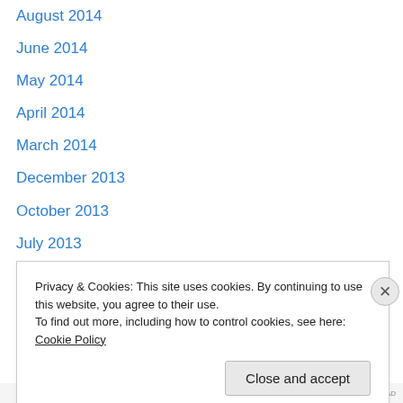August 2014
June 2014
May 2014
April 2014
March 2014
December 2013
October 2013
July 2013
June 2013
March 2013
January 2013
December 2012
November 2012
September 2012
Privacy & Cookies: This site uses cookies. By continuing to use this website, you agree to their use.
To find out more, including how to control cookies, see here: Cookie Policy
Close and accept